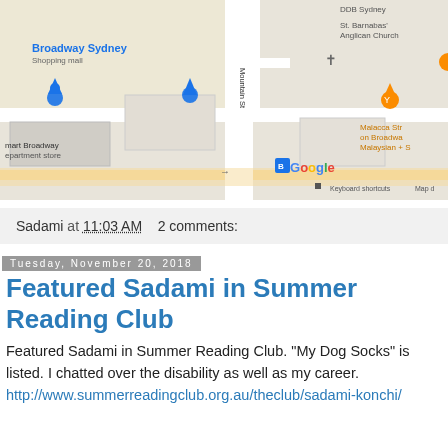[Figure (map): Google Maps screenshot showing Broadway Sydney area with streets, landmarks including Broadway Sydney Shopping Mall, St. Barnabas Anglican Church, DDB Sydney, Malacca Street on Broadway, and Kmart Broadway department store. Google logo and Keyboard shortcuts visible.]
Sadami at 11:03 AM   2 comments:
Tuesday, November 20, 2018
Featured Sadami in Summer Reading Club
Featured Sadami in Summer Reading Club. "My Dog Socks" is listed. I chatted over the disability as well as my career. http://www.summerreadingclub.org.au/theclub/sadami-konchi/